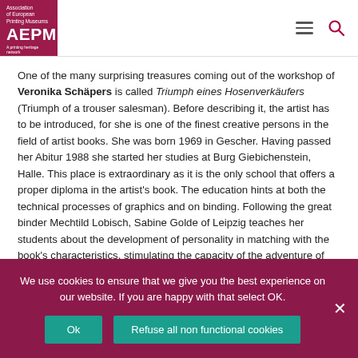[Figure (logo): Association of European Printing Museums (AEPM) logo on dark red/magenta background with tagline 'A printing heritage network']
One of the many surprising treasures coming out of the workshop of Veronika Schäpers is called Triumph eines Hosenverkäufers (Triumph of a trouser salesman). Before describing it, the artist has to be introduced, for she is one of the finest creative persons in the field of artist books. She was born 1969 in Gescher. Having passed her Abitur 1988 she started her studies at Burg Giebichenstein, Halle. This place is extraordinary as it is the only school that offers a proper diploma in the artist's book. The education hints at both the technical processes of graphics and on binding. Following the great binder Mechtild Lobisch, Sabine Golde of Leipzig teaches her students about the development of personality in matching with the book's characteristics, stimulating the capacity of the adventure of brain and spirit.
We use cookies to ensure that we give you the best experience on our website. If you are happy with that select OK.